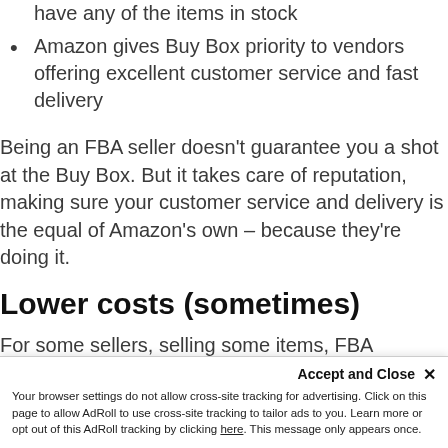Amazon rotates to the next vendor if you don't have any of the items in stock
Amazon gives Buy Box priority to vendors offering excellent customer service and fast delivery
Being an FBA seller doesn't guarantee you a shot at the Buy Box. But it takes care of reputation, making sure your customer service and delivery is the equal of Amazon's own – because they're doing it.
Lower costs (sometimes)
For some sellers, selling some items, FBA represents a significant financial saving over handling your own logistics.